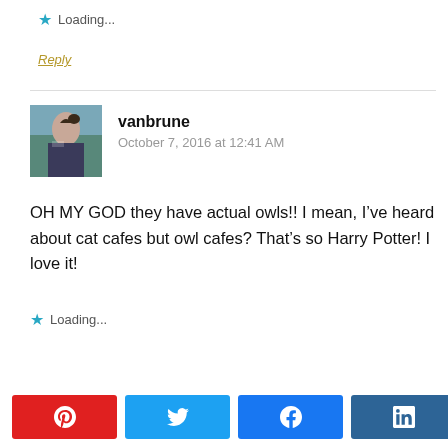Loading...
Reply
vanbrune
October 7, 2016 at 12:41 AM
OH MY GOD they have actual owls!! I mean, I’ve heard about cat cafes but owl cafes? That’s so Harry Potter! I love it!
Loading...
0 SHARES